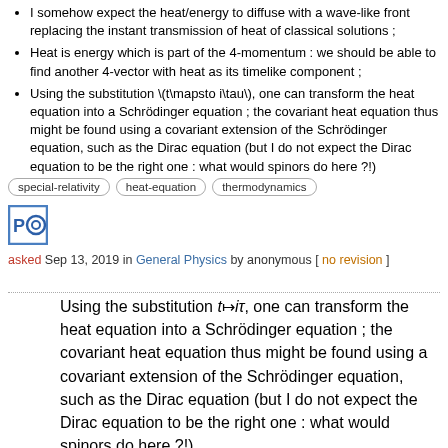I somehow expect the heat/energy to diffuse with a wave-like front replacing the instant transmission of heat of classical solutions ;
Heat is energy which is part of the 4-momentum : we should be able to find another 4-vector with heat as its timelike component ;
Using the substitution \(t\mapsto i\tau\), one can transform the heat equation into a Schrödinger equation ; the covariant heat equation thus might be found using a covariant extension of the Schrödinger equation, such as the Dirac equation (but I do not expect the Dirac equation to be the right one : what would spinors do here ?!)
special-relativity   heat-equation   thermodynamics
[Figure (logo): User avatar icon showing letters PO in a square with blue border]
asked Sep 13, 2019 in General Physics by anonymous [ no revision ]
Using the substitution t↦iτ, one can transform the heat equation into a Schrödinger equation ; the covariant heat equation thus might be found using a covariant extension of the Schrödinger equation, such as the Dirac equation (but I do not expect the Dirac equation to be the right one : what would spinors do here ?!)